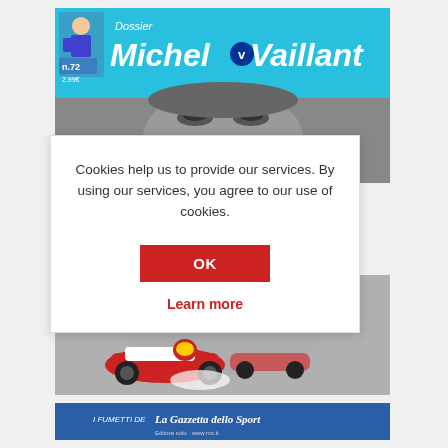[Figure (screenshot): Magazine cover for 'Dossier Michel Vaillant' n.72, 2.99€, with cyan/blue header and comic book illustration of racing cars. Published by I Fumetti de La Gazzetta dello Sport. A cookie consent dialog overlays the center of the page with text and buttons.]
Cookies help us to provide our services. By using our services, you agree to our use of cookies.
OK
Learn more